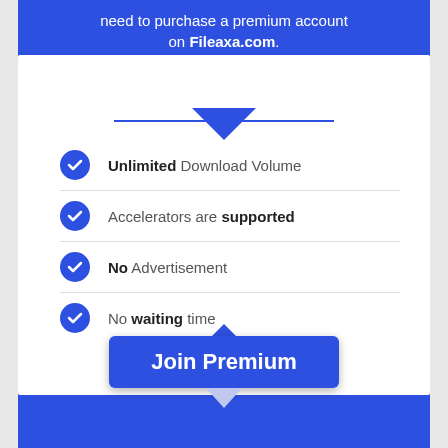need to purchase a premium account on Fileaxa.com.
Unlimited Download Volume
Accelerators are supported
No Advertisement
No waiting time
Join Premium